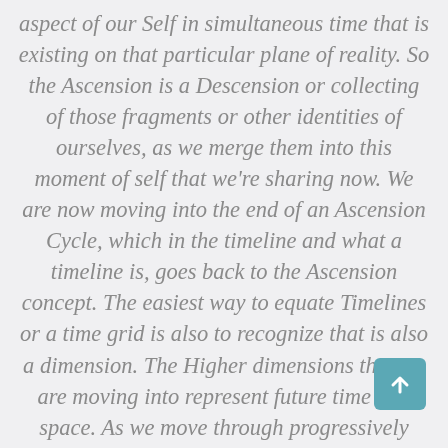aspect of our Self in simultaneous time that is existing on that particular plane of reality. So the Ascension is a Descension or collecting of those fragments or other identities of ourselves, as we merge them into this moment of self that we're sharing now. We are now moving into the end of an Ascension Cycle, which in the timeline and what a timeline is, goes back to the Ascension concept. The easiest way to equate Timelines or a time grid is also to recognize that is also a dimension. The Higher dimensions that we are moving into represent future time and space. As we move through progressively refined and higher fields of